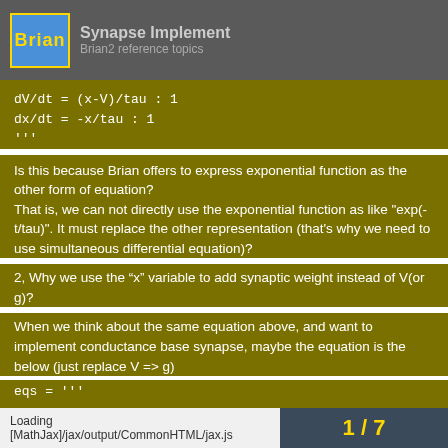Brian — Synapse implement
dV/dt = (x-V)/tau : 1
dx/dt = -x/tau : 1
'''
on_pre = 'x += w'
Is this because Brian offers to express exponential function as the other form of equation? That is, we can not directly use the exponential function as like "exp(-t/tau)". It must replace the other representation (that's why we need to use simultaneous differential equation)?
2, Why we use the “x” variable to add synaptic weight instead of V(or g)?
When we think about the same equation above, and want to implement conductance base synapse, maybe the equation is the below (just replace V => g)
eqs = '''
Loading [MathJax]/jax/output/CommonHTML/jax.js
1 / 7